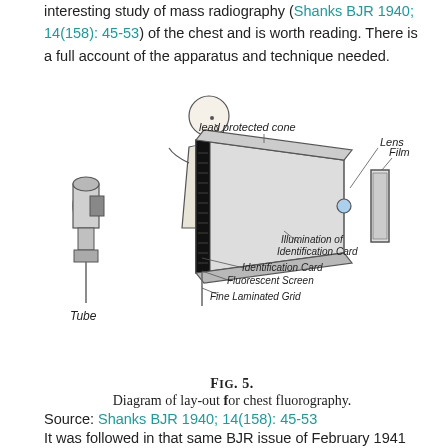interesting study of mass radiography (Shanks BJR 1940; 14(158): 45-53) of the chest and is worth reading. There is a full account of the apparatus and technique needed.
[Figure (engineering-diagram): Diagram of lay-out for chest fluorography showing a Tube (X-ray source on left), a person pressing against a lead protected cone with a Fluorescent Screen, Fine Laminated Grid, Identification Card, Illumination of Identification Card labeled inside the cone, and Lens and Film on the right side.]
FIG. 5. Diagram of lay-out for chest fluorography.
Source: Shanks BJR 1940; 14(158): 45-53
It was followed in that same BJR issue of February 1941 by a paper from K C Clark, G R Maitland Cordiner and Phillip Ellman on X-ray